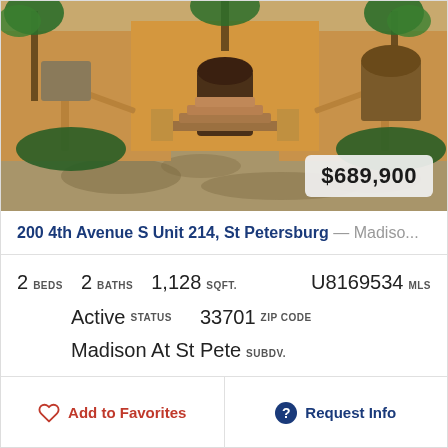[Figure (photo): Exterior photo of a Mediterranean-style residential building with terracotta walls, palm trees, staircase entrance, and dappled sunlight on driveway. Price badge showing $689,900 in lower right corner.]
200 4th Avenue S Unit 214, St Petersburg — Madiso...
2 BEDS  2 BATHS  1,128 SQFT.  U8169534 MLS  Active STATUS  33701 ZIP CODE  Madison At St Pete SUBDV.
Add to Favorites  Request Info